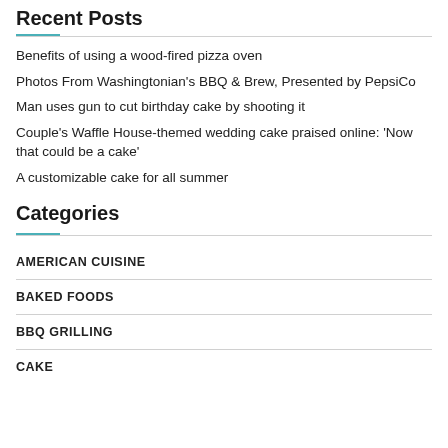Recent Posts
Benefits of using a wood-fired pizza oven
Photos From Washingtonian's BBQ & Brew, Presented by PepsiCo
Man uses gun to cut birthday cake by shooting it
Couple's Waffle House-themed wedding cake praised online: 'Now that could be a cake'
A customizable cake for all summer
Categories
AMERICAN CUISINE
BAKED FOODS
BBQ GRILLING
CAKE